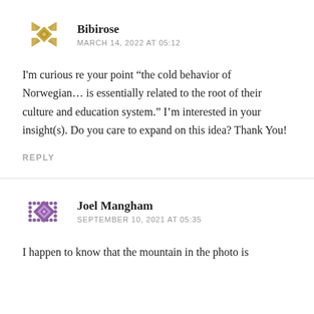[Figure (illustration): Golden/brown decorative geometric avatar icon for user Bibirose]
Bibirose
MARCH 14, 2022 AT 05:12
I'm curious re your point “the cold behavior of Norwegian… is essentially related to the root of their culture and education system.” I’m interested in your insight(s). Do you care to expand on this idea? Thank You!
REPLY
[Figure (illustration): Purple decorative geometric avatar icon for user Joel Mangham]
Joel Mangham
SEPTEMBER 10, 2021 AT 05:35
I happen to know that the mountain in the photo is